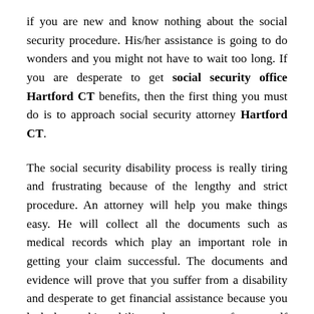if you are new and know nothing about the social security procedure. His/her assistance is going to do wonders and you might not have to wait too long. If you are desperate to get social security office Hartford CT benefits, then the first thing you must do is to approach social security attorney Hartford CT.
The social security disability process is really tiring and frustrating because of the lengthy and strict procedure. An attorney will help you make things easy. He will collect all the documents such as medical records which play an important role in getting your claim successful. The documents and evidence will prove that you suffer from a disability and desperate to get financial assistance because you lack the working ability and cannot earn for yourself and your family. The attorney will increase the chances of disability benefit successful